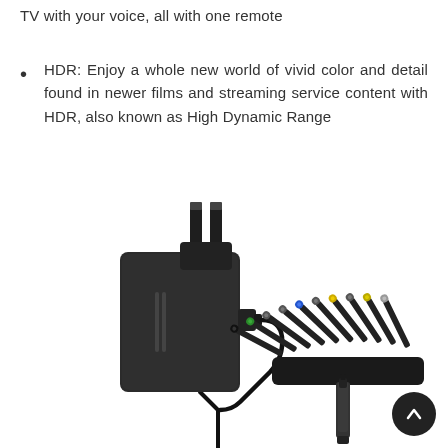TV with your voice, all with one remote
HDR: Enjoy a whole new world of vivid color and detail found in newer films and streaming service content with HDR, also known as High Dynamic Range
[Figure (photo): Photo of a universal AC power adapter (black wall charger with two US prongs) on the left, a row of multiple DC connector tips/adapters in various colors (black, green, gray, blue, yellow) arranged in a fan/row in the upper right, and a single DC barrel connector tip at the bottom right. A circular scroll-to-top button with an upward arrow is in the bottom right corner.]